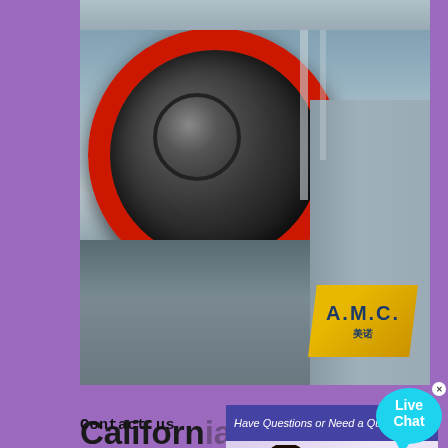[Figure (photo): Industrial machinery photo showing a large crusher wheel/flywheel with red rim, Chinese manufacturing equipment with AMC logo in yellow and blue]
[Figure (screenshot): Live chat popup overlay showing a customer service representative (woman with headset) and a 'Have Questions or Need a Quote?' dialog bar with 'CHAT NOW' button]
California
Crushers For Sale in California: 15 Crushers Near You - Find Crushers on Equipment Trader. ... Model: Crusher / Pulverizer Attachments, 2009 Demac SR9350 Hyd rotating Concrete Pulverizer. Fits 150K class machine. $25,000... Mittry Construction - Website ... 2011 KPI-JCI, KODIAK 400+ Aggregate Equipment - Crusher, 2011 KPI-JCI Kodiak 400 ...
Contact us